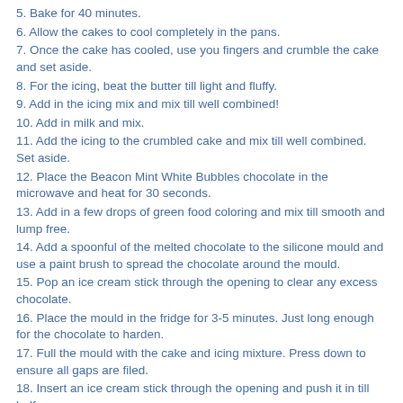5. Bake for 40 minutes.
6. Allow the cakes to cool completely in the pans.
7. Once the cake has cooled, use you fingers and crumble the cake and set aside.
8. For the icing, beat the butter till light and fluffy.
9. Add in the icing mix and mix till well combined!
10. Add in milk and mix.
11. Add the icing to the crumbled cake and mix till well combined. Set aside.
12. Place the Beacon Mint White Bubbles chocolate in the microwave and heat for 30 seconds.
13. Add in a few drops of green food coloring and mix till smooth and lump free.
14. Add a spoonful of the melted chocolate to the silicone mould and use a paint brush to spread the chocolate around the mould.
15. Pop an ice cream stick through the opening to clear any excess chocolate.
16. Place the mould in the fridge for 3-5 minutes. Just long enough for the chocolate to harden.
17. Full the mould with the cake and icing mixture. Press down to ensure all gaps are filed.
18. Insert an ice cream stick through the opening and push it in till halfway.
19. Place a layer of chocolate and use an offset spatula smooth out the top and clean up the edges.
20. Place the filled mould in the fridge for 10 minutes to allow the...